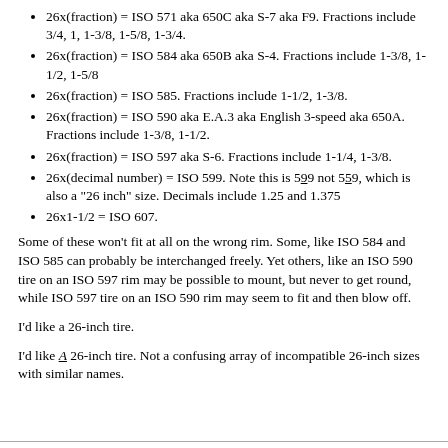26x(fraction) = ISO 571 aka 650C aka S-7 aka F9. Fractions include 3/4, 1, 1-3/8, 1-5/8, 1-3/4.
26x(fraction) = ISO 584 aka 650B aka S-4. Fractions include 1-3/8, 1-1/2, 1-5/8
26x(fraction) = ISO 585. Fractions include 1-1/2, 1-3/8.
26x(fraction) = ISO 590 aka E.A.3 aka English 3-speed aka 650A. Fractions include 1-3/8, 1-1/2.
26x(fraction) = ISO 597 aka S-6. Fractions include 1-1/4, 1-3/8.
26x(decimal number) = ISO 599. Note this is 599 not 559, which is also a "26 inch" size. Decimals include 1.25 and 1.375
26x1-1/2 = ISO 607.
Some of these won't fit at all on the wrong rim. Some, like ISO 584 and ISO 585 can probably be interchanged freely. Yet others, like an ISO 590 tire on an ISO 597 rim may be possible to mount, but never to get round, while ISO 597 tire on an ISO 590 rim may seem to fit and then blow off.
I'd like a 26-inch tire.
I'd like A 26-inch tire. Not a confusing array of incompatible 26-inch sizes with similar names.